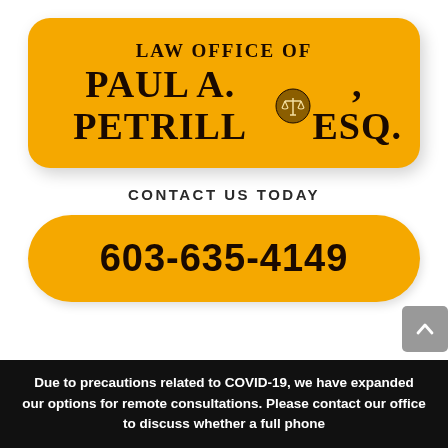[Figure (logo): Law Office of Paul A. Petrillo, Esq. logo on orange rounded rectangle background with scales of justice icon]
CONTACT US TODAY
603-635-4149
Due to precautions related to COVID-19, we have expanded our options for remote consultations. Please contact our office to discuss whether a full phone